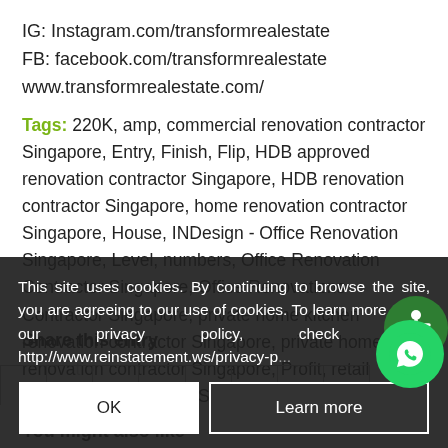IG: Instagram.com/transformrealestate
FB: facebook.com/transformrealestate
www.transformrealestate.com/
Tags: 220K, amp, commercial renovation contractor Singapore, Entry, Finish, Flip, HDB approved renovation contractor Singapore, HDB renovation contractor Singapore, home renovation contractor Singapore, House, INDesign - Office Renovation Singapore, Level, numbers, Office Renovation Contractor Singapore, Office Renovations Contractor Singapore, private home kitchen renovation contractor Singapore, private home renovation contractor Singapore, Profit, retail renovation Singapore, Start, Takeaways
Share this entry
This site uses cookies. By continuing to browse the site, you are agreeing to our use of cookies. To learn more about our privacy policy, check here: http://www.reinstatement.ws/privacy-p...
You might also like